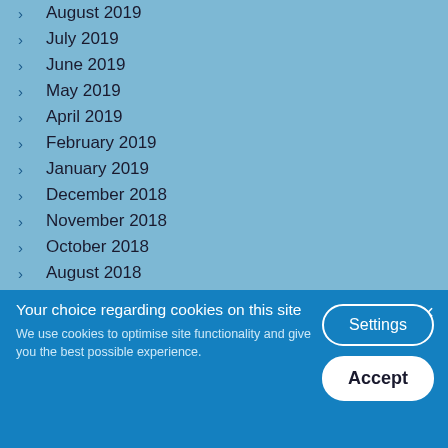August 2019
July 2019
June 2019
May 2019
April 2019
February 2019
January 2019
December 2018
November 2018
October 2018
August 2018
July 2018
June 2018
Your choice regarding cookies on this site
We use cookies to optimise site functionality and give you the best possible experience.